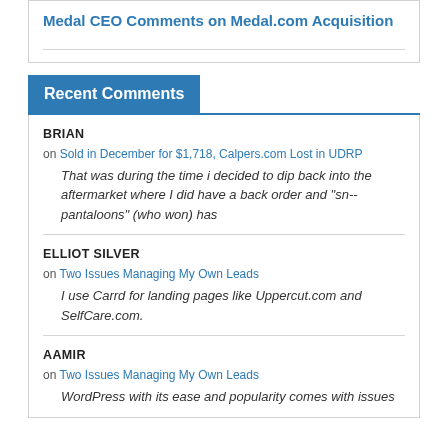Medal CEO Comments on Medal.com Acquisition
Recent Comments
BRIAN
on Sold in December for $1,718, Calpers.com Lost in UDRP
That was during the time i decided to dip back into the aftermarket where I did have a back order and "sn-- pantaloons" (who won) has
ELLIOT SILVER
on Two Issues Managing My Own Leads
I use Carrd for landing pages like Uppercut.com and SelfCare.com.
AAMIR
on Two Issues Managing My Own Leads
WordPress with its ease and popularity comes with issues